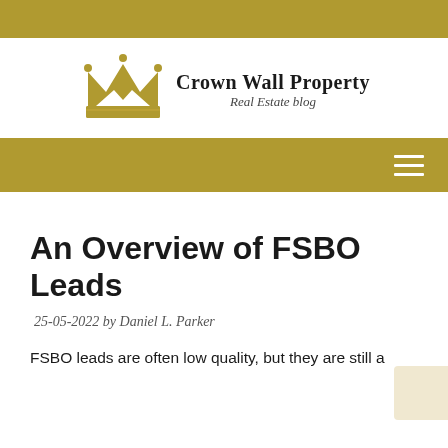[Figure (logo): Crown Wall Property Real Estate blog logo with golden crown icon and brand name]
[Figure (other): Golden navigation bar with hamburger menu icon on the right]
An Overview of FSBO Leads
25-05-2022 by Daniel L. Parker
FSBO leads are often low quality, but they are still a